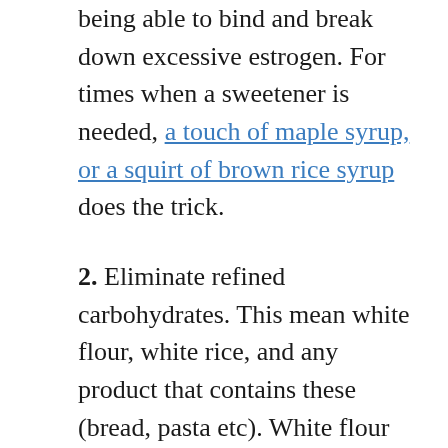being able to bind and break down excessive estrogen. For times when a sweetener is needed, a touch of maple syrup, or a squirt of brown rice syrup does the trick.
2. Eliminate refined carbohydrates. This mean white flour, white rice, and any product that contains these (bread, pasta etc). White flour and rice are white because they have had the bran and the germ (the goodness) taken out, and consequently they have a similar effect to sugar once in your body. They are easily replaced with wholemeal or whole spelt flour (or one of the many gluten free flours on the